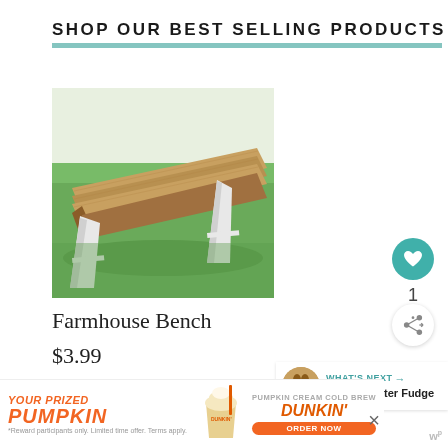SHOP OUR BEST SELLING PRODUCTS
[Figure (photo): Outdoor farmhouse-style wooden bench with white A-frame legs sitting on green grass]
Farmhouse Bench
$3.99
[Figure (photo): Partial view of a red barn with a metal roof and trees in background]
[Figure (other): Dunkin' Pumpkin Cream Cold Brew advertisement banner: YOUR PRIZED PUMPKIN / DUNKIN' / ORDER NOW]